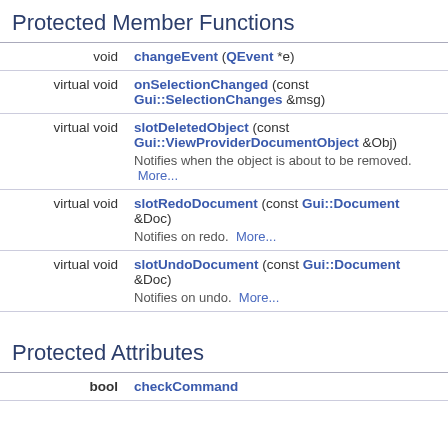Protected Member Functions
| Return type | Function |
| --- | --- |
| void | changeEvent (QEvent *e) |
| virtual void | onSelectionChanged (const Gui::SelectionChanges &msg) |
| virtual void | slotDeletedObject (const Gui::ViewProviderDocumentObject &Obj)
Notifies when the object is about to be removed.  More... |
| virtual void | slotRedoDocument (const Gui::Document &Doc)
Notifies on redo.  More... |
| virtual void | slotUndoDocument (const Gui::Document &Doc)
Notifies on undo.  More... |
Protected Attributes
| Type | Name |
| --- | --- |
| bool | checkCommand |